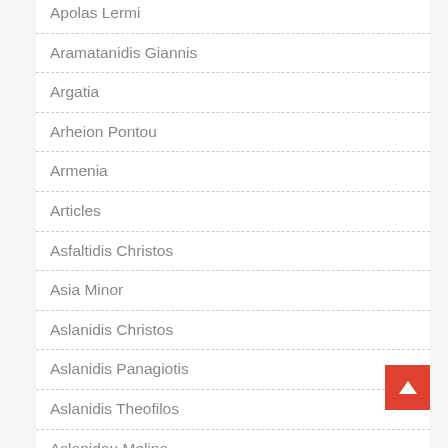Apolas Lermi
Aramatanidis Giannis
Argatia
Arheion Pontou
Armenia
Articles
Asfaltidis Christos
Asia Minor
Aslanidis Christos
Aslanidis Panagiotis
Aslanidis Theofilos
Aslanidou Melina
Aslibanidis Samos